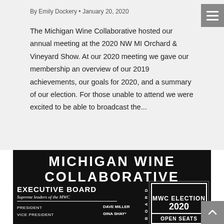By Emily Dockery • January 20, 2020
The Michigan Wine Collaborative hosted our annual meeting at the 2020 NW MI Orchard & Vineyard Show. At our 2020 meeting we gave our membership an overview of our 2019 achievements, our goals for 2020, and a summary of our election. For those unable to attend we were excited to be able to broadcast the...
[Figure (infographic): Michigan Wine Collaborative Executive Board infographic on black background. Shows 'MICHIGAN WINE COLLABORATIVE' in large bold white uppercase text at top. Below left: 'EXECUTIVE BOARD' with subtitle 'Supreme leaders of the MWC'. Lists PRESIDENT - DAVE MILLER, VICE PRESIDENT - GINA SHAY*. Vertical 'BOARD' text in center. Right side shows decorative box with 'MWC ELECTION 2020' and partially visible 'OPEN SEATS' bar at bottom.]